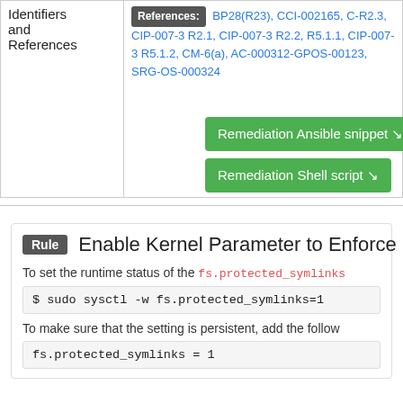|  |  |
| --- | --- |
| Identifiers
and
References | References: BP28(R23), CCI-002165, C-R2.3, CIP-007-3 R2.1, CIP-007-3 R2.2, R5.1.1, CIP-007-3 R5.1.2, CM-6(a), AC-000312-GPOS-00123, SRG-OS-000324 |
Remediation Ansible snippet ↘
Remediation Shell script ↘
Rule  Enable Kernel Parameter to Enforce
To set the runtime status of the fs.protected_symlinks
$ sudo sysctl -w fs.protected_symlinks=1
To make sure that the setting is persistent, add the follow
fs.protected_symlinks = 1